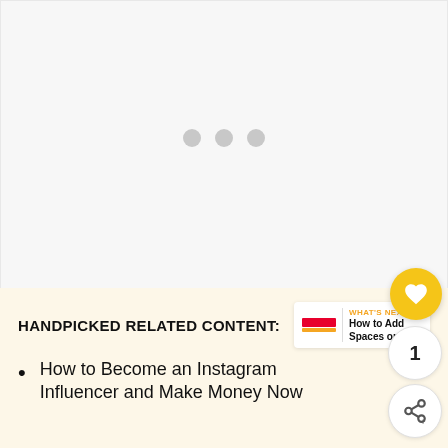[Figure (other): Loading placeholder area with three grey dots indicating content is loading]
[Figure (other): Circular yellow heart/favorite button (FAB) with white heart icon, like count of 1, and share button below]
HANDPICKED RELATED CONTENT:
[Figure (other): What's Next promotional box with red/orange logo bars, divider, label 'WHAT'S NEXT →' and text 'How to Add Spaces on...']
How to Become an Instagram Influencer and Make Money Now